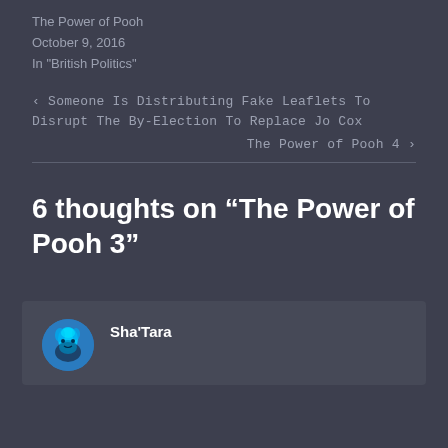The Power of Pooh
October 9, 2016
In "British Politics"
‹ Someone Is Distributing Fake Leaflets To Disrupt The By-Election To Replace Jo Cox
The Power of Pooh 4 ›
6 thoughts on “The Power of Pooh 3”
Sha'Tara